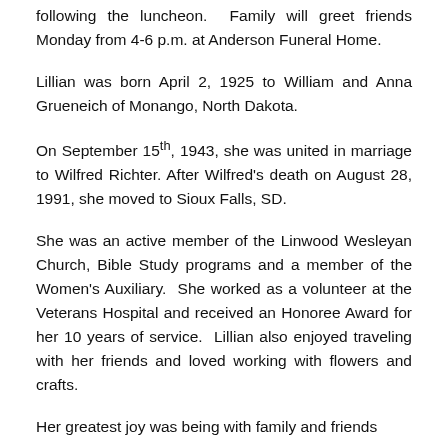following the luncheon. Family will greet friends Monday from 4-6 p.m. at Anderson Funeral Home.
Lillian was born April 2, 1925 to William and Anna Grueneich of Monango, North Dakota.
On September 15th, 1943, she was united in marriage to Wilfred Richter. After Wilfred's death on August 28, 1991, she moved to Sioux Falls, SD.
She was an active member of the Linwood Wesleyan Church, Bible Study programs and a member of the Women's Auxiliary. She worked as a volunteer at the Veterans Hospital and received an Honoree Award for her 10 years of service. Lillian also enjoyed traveling with her friends and loved working with flowers and crafts.
Her greatest joy was being with family and friends